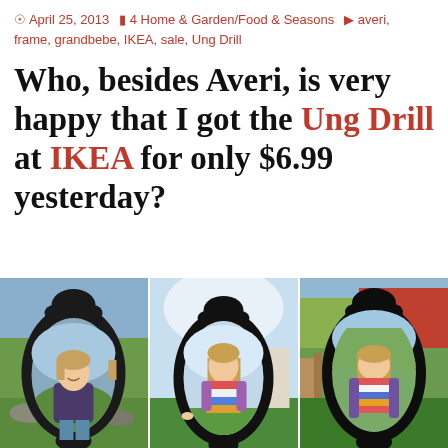April 25, 2013   4 Home & Garden/Food & Seasons   averi, frame, grandbebe, IKEA, sale, Ung Drill
Who, besides Averi, is very happy that I got the Ung Drill at IKEA for only $6.99 yesterday?
[Figure (photo): Three photos of a young girl holding a large ornate black oval IKEA Ung Drill mirror frame outdoors in a garden setting]